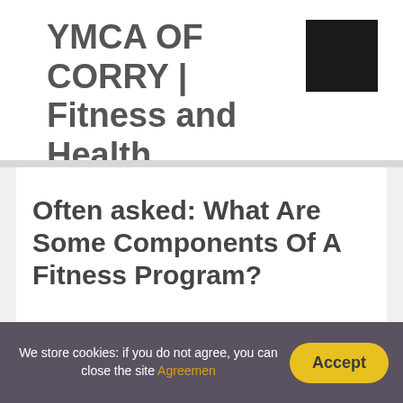YMCA OF CORRY | Fitness and Health
Often asked: What Are Some Components Of A Fitness Program?
Posted on by Amy Lang
We store cookies: if you do not agree, you can close the site Agreement